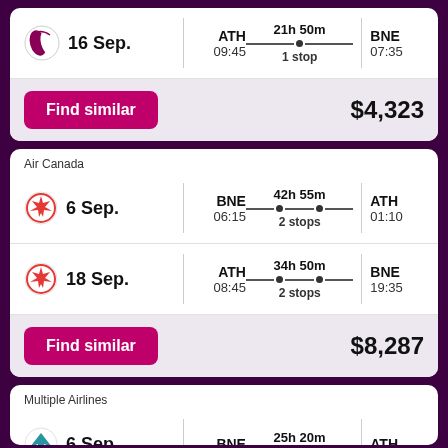16 Sep. | ATH 09:45 | 21h 50m 1 stop | BNE 07:35
Find similar — $4,323
Air Canada
6 Sep. | BNE 06:15 | 42h 55m 2 stops | ATH 01:10
18 Sep. | ATH 08:45 | 34h 50m 2 stops | BNE 19:35
Find similar — $8,287
Multiple Airlines
6 Sep. | BNE | 25h 20m | ATH